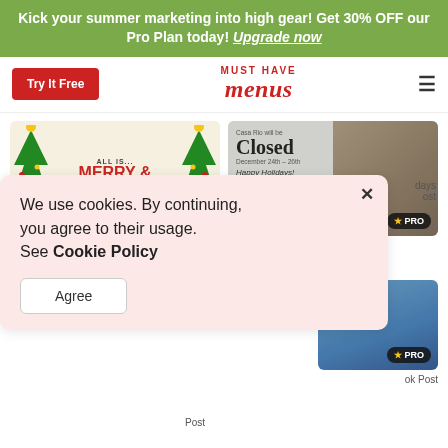Kick your summer marketing into high gear! Get 30% OFF our Pro Plan today! Upgrade now
[Figure (screenshot): Must Have Menus website header with Try It Free button, logo, and hamburger menu]
[Figure (illustration): Christmas card with Merry & Bright text and Christmas trees, PRO badge]
[Figure (illustration): Holiday closed notice card reading 'Casa Rio will be Closed December 24th-25th Happy Holidays!' with gift box, PRO badge]
We use cookies. By continuing, you agree to their usage. See Cookie Policy
Agree